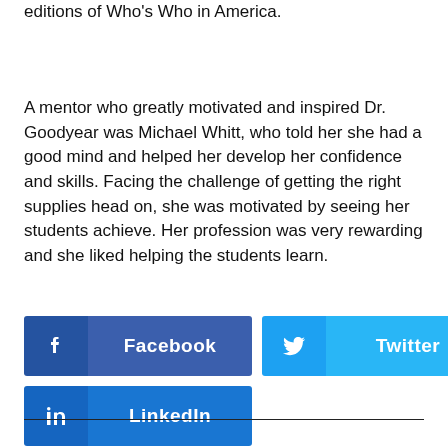editions of Who's Who in America.
A mentor who greatly motivated and inspired Dr. Goodyear was Michael Whitt, who told her she had a good mind and helped her develop her confidence and skills. Facing the challenge of getting the right supplies head on, she was motivated by seeing her students achieve. Her profession was very rewarding and she liked helping the students learn.
[Figure (infographic): Social sharing buttons for Facebook, Twitter, and LinkedIn]